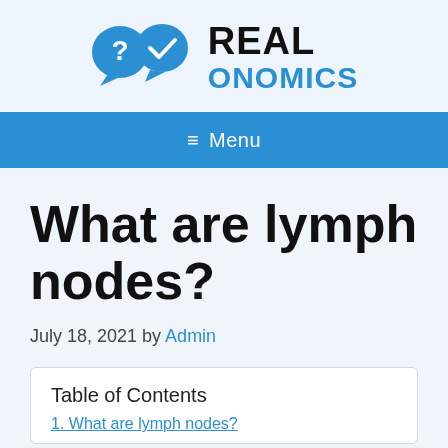[Figure (logo): Realonomics logo with two speech bubble icons (question mark and checkmark) in blue, followed by bold text REAL ONOMICS]
≡  Menu
What are lymph nodes?
July 18, 2021 by Admin
Table of Contents
1. What are lymph nodes?